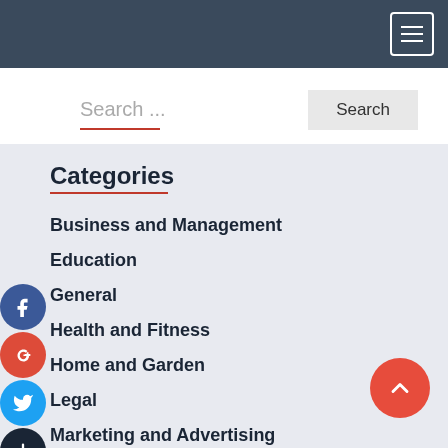Navigation bar with hamburger menu icon
Search ...
Search
Categories
Business and Management
Education
General
Health and Fitness
Home and Garden
Legal
Marketing and Advertising